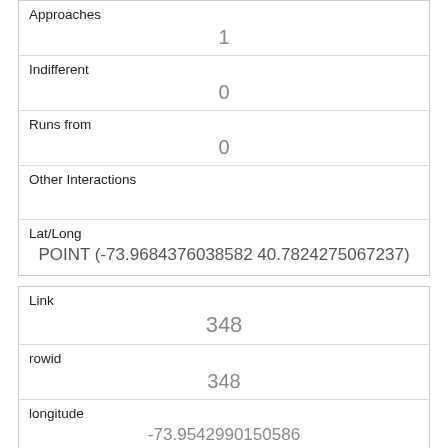| Approaches | 1 |
| Indifferent | 0 |
| Runs from | 0 |
| Other Interactions |  |
| Lat/Long | POINT (-73.9684376038582 40.7824275067237) |
| Link | 348 |
| rowid | 348 |
| longitude | -73.9542990150586 |
| latitude | 40.7940915300677 96 |
| Unique Squirrel ID |  |